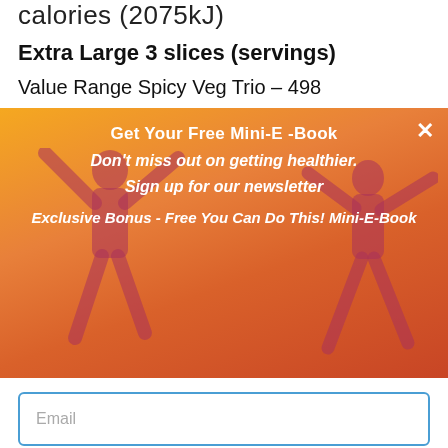calories (2075kJ)
Extra Large 3 slices (servings)
Value Range Spicy Veg Trio – 498
[Figure (infographic): Orange/sunset gradient popup banner with silhouettes of two people jumping with arms raised. Contains newsletter signup call-to-action text. Close (×) button in top right corner.]
Get Your Free Mini-E -Book
Don't miss out on getting healthier.
Sign up for our newsletter
Exclusive Bonus - Free You Can Do This! Mini-E-Book
Email
SUBSCRIBE